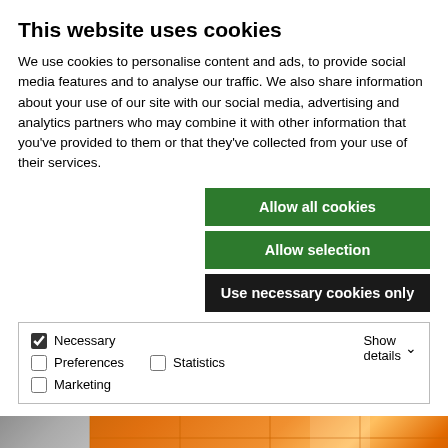This website uses cookies
We use cookies to personalise content and ads, to provide social media features and to analyse our traffic. We also share information about your use of our site with our social media, advertising and analytics partners who may combine it with other information that you've provided to them or that they've collected from your use of their services.
Allow all cookies
Allow selection
Use necessary cookies only
| Necessary | Preferences | Statistics | Show details |
| Marketing |  |  |  |
Groutline: 1.6 mm
Measurements: 11x600x2400 mm
Fibo article number: 2122M6015
[Figure (photo): Orange/brown wall tiles with grey corner section visible in background]